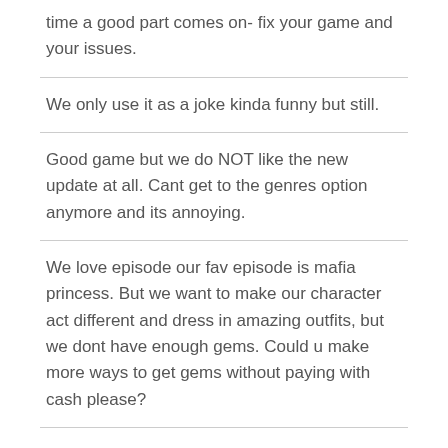time a good part comes on- fix your game and your issues.
We only use it as a joke kinda funny but still.
Good game but we do NOT like the new update at all. Cant get to the genres option anymore and its annoying.
We love episode our fav episode is mafia princess. But we want to make our character act different and dress in amazing outfits, but we dont have enough gems. Could u make more ways to get gems without paying with cash please?
We think this game is really good, but everyone is right about